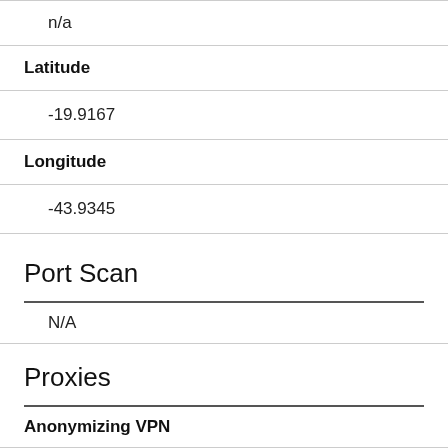n/a
Latitude
-19.9167
Longitude
-43.9345
Port Scan
N/A
Proxies
Anonymizing VPN
No